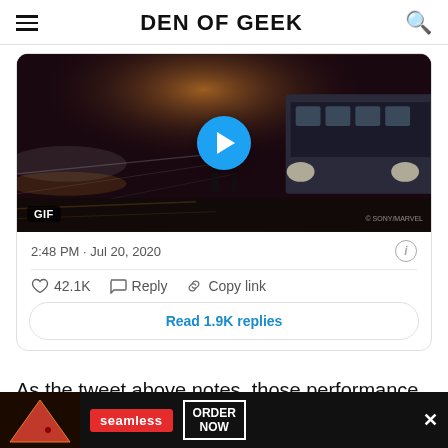DEN OF GEEK
[Figure (screenshot): Embedded tweet showing a GIF/video of a street scene with motion blur of cars and a bus, with a blue play button overlay and GIF label in bottom left. Timestamp: 2:48 PM · Jul 20, 2020. Likes: 42.1K. Actions: Reply, Copy link. Read 1.9K replies button.]
As the tweet above notes, those performance figures are
[Figure (screenshot): Advertisement banner for Seamless food delivery with pizza image, red Seamless logo, and ORDER NOW button. Close (X) button on right.]